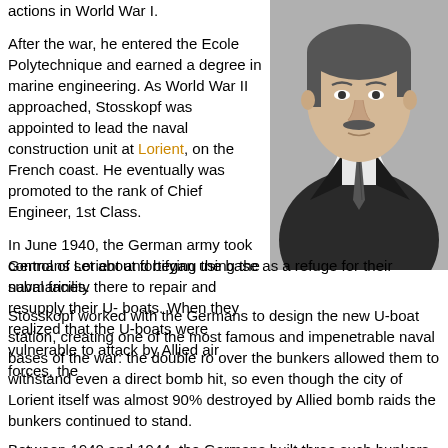actions in World War I.
After the war, he entered the Ecole Polytechnique and earned a degree in marine engineering. As World War II approached, Stosskopf was appointed to lead the naval construction unit at Lorient, on the French coast. He eventually was promoted to the rank of Chief Engineer, 1st Class.
[Figure (photo): Black and white portrait photograph of a man in a suit and tie with a mustache, upper body visible.]
In June 1940, the German army took control of Lorient and began using the naval facility there to repair and resupply their U-boats. When they realized that the U-boats were vulnerable to attack by Allied air forces, the Germans set about fortifying the base as a refuge for their submarines.
Stosskopf worked with the Germans to design the new U-boat station, creating one of the most famous and impenetrable naval bases of the war: the double ro over the bunkers allowed them to withstand even a direct bomb hit, so even though the city of Lorient itself was almost 90% destroyed by Allied bomb raids the bunkers continued to stand.
Between 1940 and 1944, the Germans built three such bunkers, capable of sheltering more than 25 submarines; from these fastnesses, German U-boats carried out relentless attacks against both military and civilian targets.